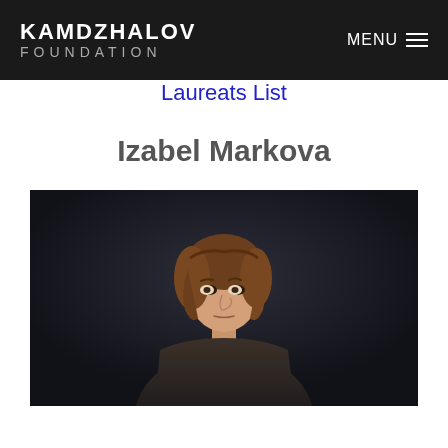KAMDZHALOV FOUNDATION   MENU
Laureats List
Izabel Markova
[Figure (photo): Young woman with wavy brown hair holding a violin, photographed against a dark background, looking at the camera seriously.]